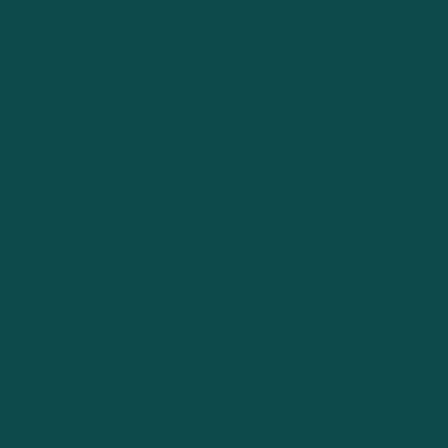| Bank | Bonus | Details |
| --- | --- | --- |
| HSBC | $750 | asy... [ads... win... Aug... is_a... app... App... more... |
| HSBC | $300 | Sr... q... asy... [ads... win... Aug... offe... bet... Sep... here... |
| Huntington Bank | $200 | Ch... asy... [ads... win... Aug... click... 5 Cl... |